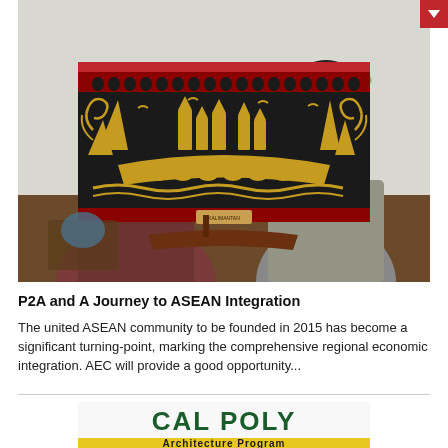[Figure (photo): Two women holding a large decorative textile/tapestry with traditional patterns. The woman on the left wears a pink hijab, the woman on the right has short dark hair and glasses. The textile is predominantly black with gold designs depicting buildings and animals.]
P2A and A Journey to ASEAN Integration
The united ASEAN community to be founded in 2015 has become a significant turning-point, marking the comprehensive regional economic integration. AEC will provide a good opportunity...
[Figure (photo): Cal Poly Architecture Program banner/sign with green text on white background and yellow stripe at bottom.]